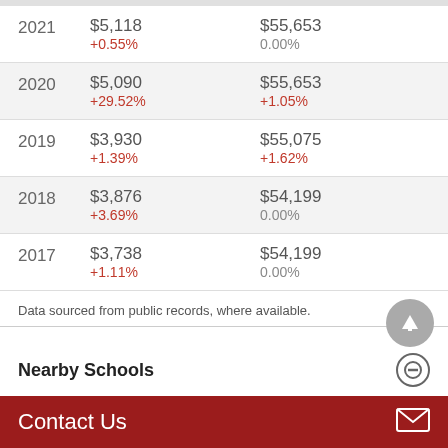| Year | Col1 Amount | Col1 % | Col2 Amount | Col2 % |
| --- | --- | --- | --- | --- |
| 2021 | $5,118 | +0.55% | $55,653 | 0.00% |
| 2020 | $5,090 | +29.52% | $55,653 | +1.05% |
| 2019 | $3,930 | +1.39% | $55,075 | +1.62% |
| 2018 | $3,876 | +3.69% | $54,199 | 0.00% |
| 2017 | $3,738 | +1.11% | $54,199 | 0.00% |
Data sourced from public records, where available.
Nearby Schools
Contact Us